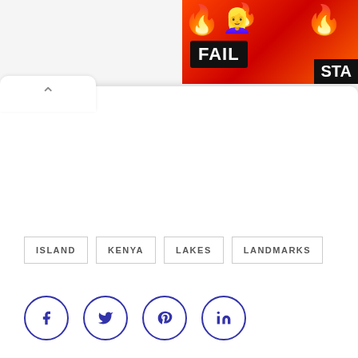[Figure (screenshot): Ad banner in top right showing a cartoon girl with fire and a FAIL badge and STA text]
ISLAND
KENYA
LAKES
LANDMARKS
[Figure (infographic): Social share buttons: Facebook (f), Twitter (bird), Pinterest (P), LinkedIn (in) — all circular with dark blue border and icon]